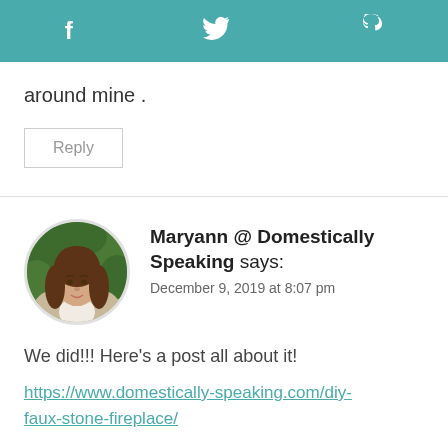f  (twitter bird)  p
around mine .
Reply
[Figure (photo): Circular avatar photo of a woman with long brown hair wearing a light cardigan, photographed outdoors with green foliage in background]
Maryann @ Domestically Speaking says:
December 9, 2019 at 8:07 pm
We did!!! Here’s a post all about it!
https://www.domestically-speaking.com/diy-faux-stone-fireplace/